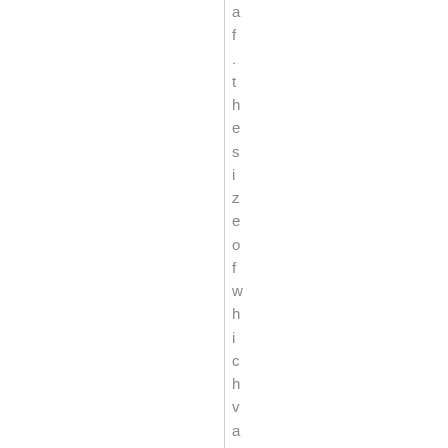af .thesizeof which hvaries ac